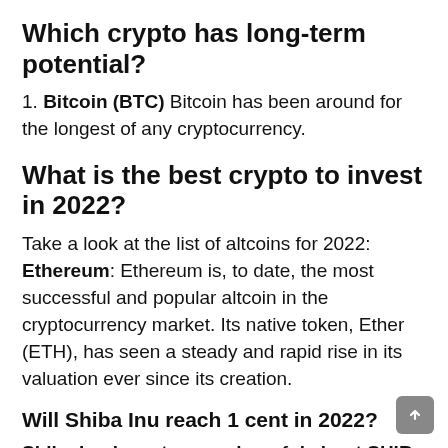Which crypto has long-term potential?
1. Bitcoin (BTC) Bitcoin has been around for the longest of any cryptocurrency.
What is the best crypto to invest in 2022?
Take a look at the list of altcoins for 2022: Ethereum: Ethereum is, to date, the most successful and popular altcoin in the cryptocurrency market. Its native token, Ether (ETH), has seen a steady and rapid rise in its valuation ever since its creation.
Will Shiba Inu reach 1 cent in 2022?
Shiba Inu investors are hopeful about SHIB token price reaching 1 cent in 2022. However, SHIB will